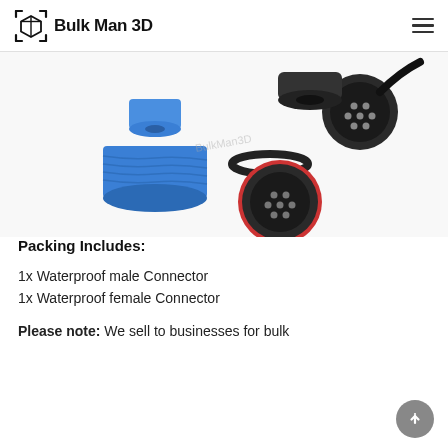Bulk Man 3D
[Figure (photo): Waterproof electrical connectors — blue plastic threaded cap/body pieces and black circular multi-pin connectors with red sealing ring, shown disassembled on white background. Bulk Man 3D watermark visible.]
Packing Includes:
1x Waterproof male Connector
1x Waterproof female Connector
Please note: We sell to businesses for bulk